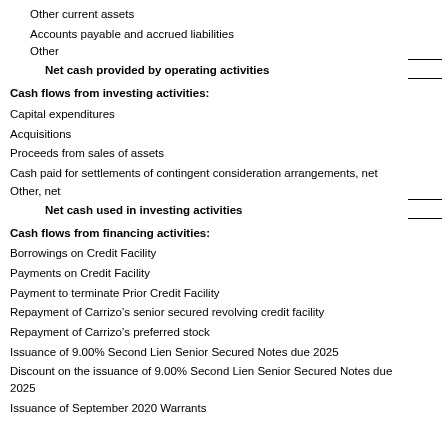Other current assets
Accounts payable and accrued liabilities
Other
Net cash provided by operating activities
Cash flows from investing activities:
Capital expenditures
Acquisitions
Proceeds from sales of assets
Cash paid for settlements of contingent consideration arrangements, net
Other, net
Net cash used in investing activities
Cash flows from financing activities:
Borrowings on Credit Facility
Payments on Credit Facility
Payment to terminate Prior Credit Facility
Repayment of Carrizo’s senior secured revolving credit facility
Repayment of Carrizo’s preferred stock
Issuance of 9.00% Second Lien Senior Secured Notes due 2025
Discount on the issuance of 9.00% Second Lien Senior Secured Notes due 2025
Issuance of September 2020 Warrants